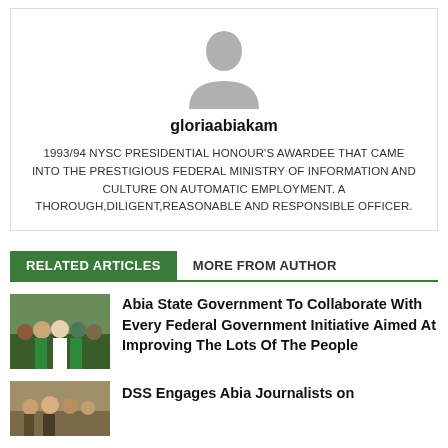[Figure (illustration): Generic user avatar silhouette in grey]
gloriaabiakam
1993/94 NYSC PRESIDENTIAL HONOUR'S AWARDEE THAT CAME INTO THE PRESTIGIOUS FEDERAL MINISTRY OF INFORMATION AND CULTURE ON AUTOMATIC EMPLOYMENT. A THOROUGH,DILIGENT,REASONABLE AND RESPONSIBLE OFFICER.
RELATED ARTICLES   MORE FROM AUTHOR
[Figure (photo): Group of people posing together, some in traditional green attire]
Abia State Government To Collaborate With Every Federal Government Initiative Aimed At Improving The Lots Of The People
[Figure (photo): People at what appears to be a press/journalists event]
DSS Engages Abia Journalists on